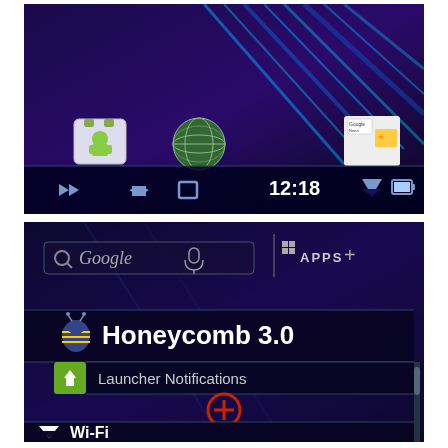[Figure (screenshot): Android Honeycomb home screen showing app icons (Android Market, globe browser, Google News), navigation bar with back/home/recent buttons, time 12:18, signal and battery icons]
[Figure (screenshot): Android Honeycomb launcher screen showing Google search bar with mic icon, Apps button with plus, Honeycomb 3.0 label with bee icon, Launcher Notifications row, and Wi-Fi row at bottom]